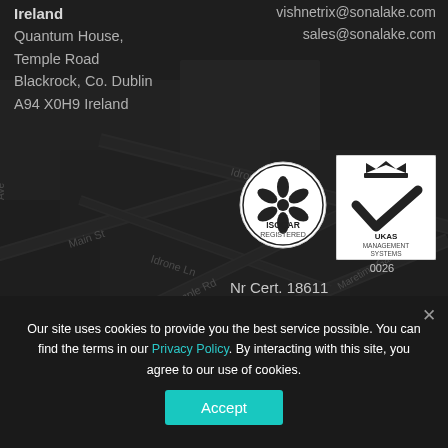[Figure (map): Dark-themed street map of Blackrock, Co. Dublin area showing Idrone Terrace, Idrone Ln, Main St, Temple Rd, and other streets]
Ireland
Quantum House,
Temple Road
Blackrock, Co. Dublin
A94 X0H9 Ireland
vishnetrix@sonalake.com
sales@sonalake.com
[Figure (logo): ISOQAR Registered certification logo (circular badge with flower symbol)]
[Figure (logo): UKAS Management Systems 0026 certification logo (square badge with crown and checkmark)]
Nr Cert. 18611
ISO/IEC 27001
Our site uses cookies to provide you the best service possible. You can find the terms in our Privacy Policy. By interacting with this site, you agree to our use of cookies.
Accept